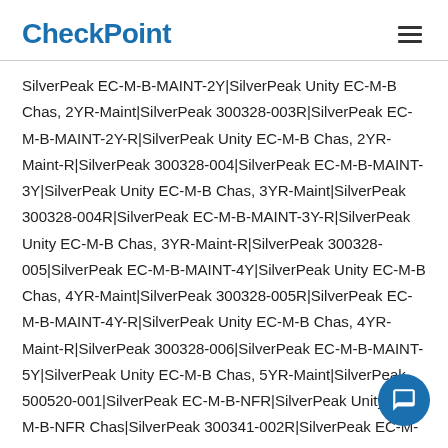CheckPoint
SilverPeak EC-M-B-MAINT-2Y│SilverPeak Unity EC-M-B Chas, 2YR-Maint│SilverPeak 300328-003R│SilverPeak EC-M-B-MAINT-2Y-R│ SilverPeak Unity EC-M-B Chas, 2YR-Maint-R│SilverPeak 300328-004│ SilverPeak EC-M-B-MAINT-3Y│SilverPeak Unity EC-M-B Chas, 3YR-Maint│SilverPeak 300328-004R│SilverPeak EC-M-B-MAINT-3Y-R│ SilverPeak Unity EC-M-B Chas, 3YR-Maint-R│SilverPeak 300328-005│ SilverPeak EC-M-B-MAINT-4Y│SilverPeak Unity EC-M-B Chas, 4YR-Maint│SilverPeak 300328-005R│SilverPeak EC-M-B-MAINT-4Y-R│ SilverPeak Unity EC-M-B Chas, 4YR-Maint-R│SilverPeak 300328-006│ SilverPeak EC-M-B-MAINT-5Y│SilverPeak Unity EC-M-B Chas, 5YR-Maint│SilverPeak 500520-001│SilverPeak EC-M-B-NFR│SilverPeak Unity EC-M-B-NFR Chas│SilverPeak 300341-002R│SilverPeak EC-M-MAINT-1MO-R│SilverPeak Unity EC-M Chas, 1MO-Maint-R│SilverPeak 300341-001R│SilverPeak EC-M-MAINT-1Y-R│SilverPeak Unity Chas, 1YR-Maint-R│SilverPeak 300341-003R│SilverPeak EC-M-MAINT-